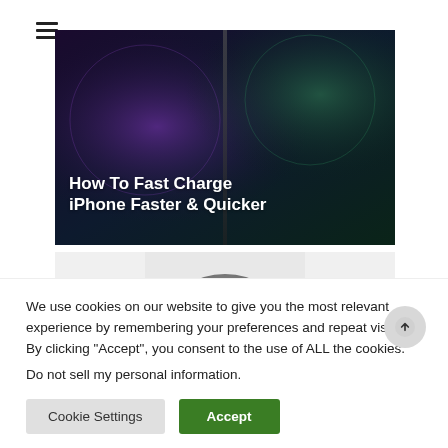[Figure (screenshot): Hamburger menu icon (three horizontal lines) in top left corner]
[Figure (photo): Dark background image showing iPhones with purple and green gradient tones, with white bold text overlay reading 'How To Fast Charge iPhone Faster & Quicker']
[Figure (photo): Partial top-of-head photo of a person with gray hair on a light gray background]
We use cookies on our website to give you the most relevant experience by remembering your preferences and repeat visits. By clicking “Accept”, you consent to the use of ALL the cookies.
Do not sell my personal information.
Cookie Settings
Accept